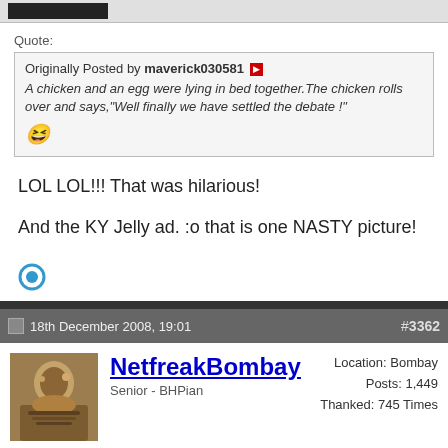[Figure (screenshot): Username bar with black rectangle]
Quote:
Originally Posted by maverick030581
A chicken and an egg were lying in bed together.The chicken rolls over and says,"Well finally we have settled the debate !"
😆
LOL LOL!!! That was hilarious!

And the KY Jelly ad. :o that is one NASTY picture!
18th December 2008, 19:01   #3362
NetfreakBombay
Senior - BHPian
Location: Bombay
Posts: 1,449
Thanked: 745 Times
New Mexico
Traveling outside Taos, a man comes upon a Native American lying in the middle of the road with his ear pressed against the blacktop. "What are you doing?" asks